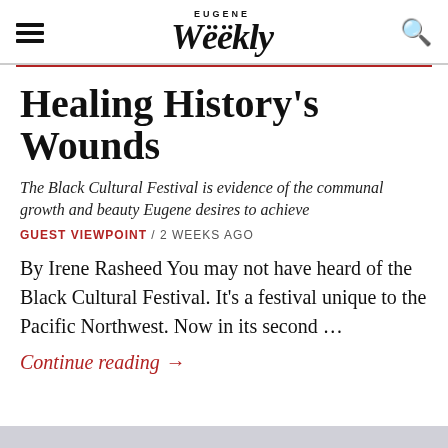Eugene Weekly
Healing History's Wounds
The Black Cultural Festival is evidence of the communal growth and beauty Eugene desires to achieve
GUEST VIEWPOINT / 2 WEEKS AGO
By Irene Rasheed You may not have heard of the Black Cultural Festival. It's a festival unique to the Pacific Northwest. Now in its second …
Continue reading →